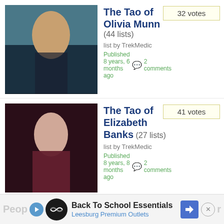The Tao of Olivia Munn (44 lists) — list by TrekMedic — Published 8 years, 6 months ago — 2 comments — 32 votes
The Tao of Elizabeth Banks (27 lists) — list by TrekMedic — Published 8 years, 8 months ago — 2 comments — 41 votes
most photoshooting clothes (9 lists) — list by iknowthat — Published 8 years, 7 months ago — 2 comments — 26 votes
+ Add to list
Back To School Essentials Leesburg Premium Outlets